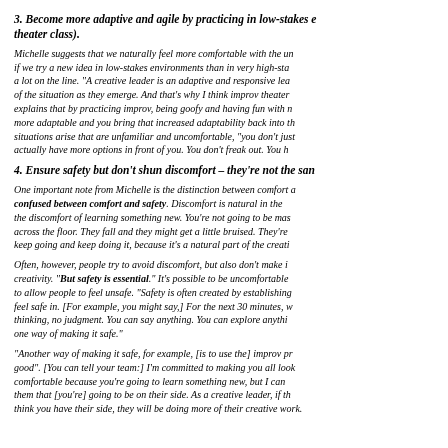3. Become more adaptive and agile by practicing in low-stakes environments (e.g., a theater class).
Michelle suggests that we naturally feel more comfortable with the unknown if we try a new idea in low-stakes environments than in very high-stakes situations with a lot on the line. "A creative leader is an adaptive and responsive leader, who makes sense of the situation as they emerge. And that's why I think improv theater is so amazing." She explains that by practicing improv, being goofy and having fun with no stakes, you become more adaptable and you bring that increased adaptability back into the workplace. When situations arise that are unfamiliar and uncomfortable, "you don't just have more options, you actually have more options in front of you. You don't freak out. You h
4. Ensure safety but don't shun discomfort – they're not the same thing.
One important note from Michelle is the distinction between comfort and safety. People often confused between comfort and safety. Discomfort is natural in the creative process — like the discomfort of learning something new. You're not going to be master until you've fallen across the floor. They fall and they might get a little bruised. They're uncomfortable but they keep going and keep doing it, because it's a natural part of the creative process.
Often, however, people try to avoid discomfort, but also don't make it safe enough for creativity. "But safety is essential." It's possible to be uncomfortable without it being unsafe, to allow people to feel unsafe. "Safety is often created by establishing a container that people feel safe in. [For example, you might say,] For the next 30 minutes, we're going to do no thinking, no judgment. You can say anything. You can explore anything... That framing is one way of making it safe."
"Another way of making it safe, for example, [is to use the] improv principle, make others good". [You can tell your team:] I'm committed to making you all look good. You might be uncomfortable because you're going to learn something new, but I can reassure you by telling them that [you're] going to be on their side. As a creative leader, if the people on your team think you have their side, they will be be doing more of their creative work.